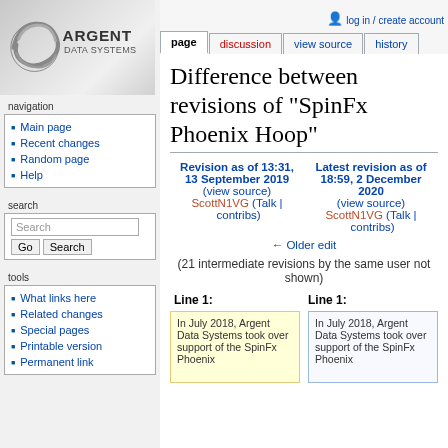log in / create account
page | discussion | view source | history
[Figure (logo): Argent Data Systems logo with stylized circular graphic and text]
navigation
Main page
Recent changes
Random page
Help
search
tools
What links here
Related changes
Special pages
Printable version
Permanent link
Difference between revisions of "SpinFx Phoenix Hoop"
Revision as of 13:31, 13 September 2019 (view source) ScottN1VG (Talk | contribs)
← Older edit
Latest revision as of 18:59, 2 December 2020 (view source) ScottN1VG (Talk | contribs)
(21 intermediate revisions by the same user not shown)
Line 1:
Line 1:
In July 2018, Argent Data Systems took over support of the SpinFx Phoenix...
In July 2018, Argent Data Systems took over support of the SpinFx Phoenix...